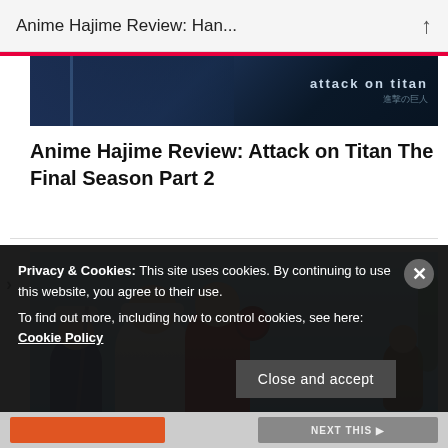Anime Hajime Review: Han...
[Figure (photo): Attack on Titan anime banner image with characters and Japanese text '進撃の巨人']
Anime Hajime Review: Attack on Titan The Final Season Part 2
[Figure (photo): Yashahime anime illustration showing multiple characters jumping through the air against a blue sky background]
Privacy & Cookies: This site uses cookies. By continuing to use this website, you agree to their use.
To find out more, including how to control cookies, see here: Cookie Policy
Close and accept